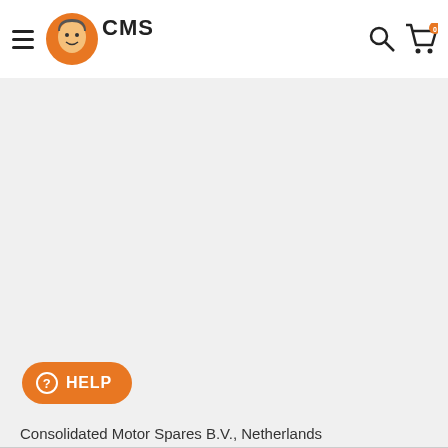CMS — Consolidated Motor Spares header with hamburger menu, logo, search and cart icons
By clicking "Accept All Cookies", you agree to the storing of cookies on your device to enhance site navigation, analyze site usage, and assist in our marketing efforts.
Cookies Settings | Accept All Cookies
HELP
Consolidated Motor Spares B.V., Netherlands